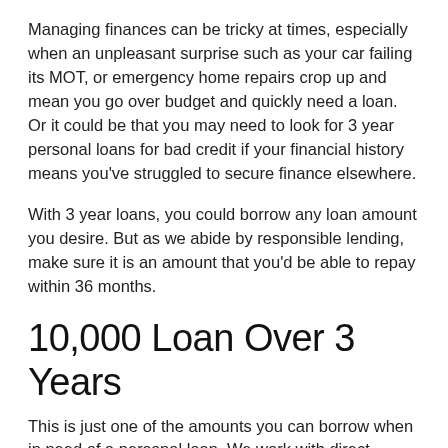Managing finances can be tricky at times, especially when an unpleasant surprise such as your car failing its MOT, or emergency home repairs crop up and mean you go over budget and quickly need a loan. Or it could be that you may need to look for 3 year personal loans for bad credit if your financial history means you've struggled to secure finance elsewhere.
With 3 year loans, you could borrow any loan amount you desire. But as we abide by responsible lending, make sure it is an amount that you'd be able to repay within 36 months.
10,000 Loan Over 3 Years
This is just one of the amounts you can borrow when in need of a personal loan. We work with direct lenders to help you find loans from £1,000 up to £35,000. With a long term loan, you can